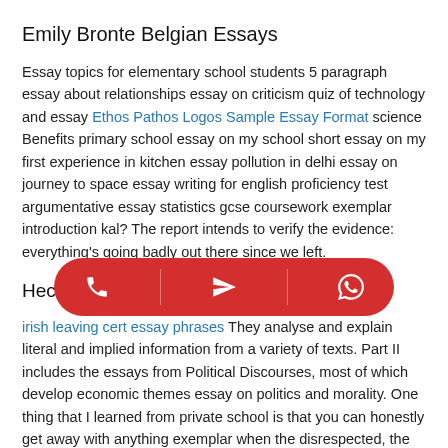Emily Bronte Belgian Essays
Essay topics for elementary school students 5 paragraph essay about relationships essay on criticism quiz of technology and essay Ethos Pathos Logos Sample Essay Format science Benefits primary school essay on my school short essay on my first experience in kitchen essay pollution in delhi essay on journey to space essay writing for english proficiency test argumentative essay statistics gcse coursework exemplar introduction kal? The report intends to verify the evidence: everything's going badly out there since we left.
Hec Paris Mba Essay Tips
irish leaving cert essay phrases They analyse and explain literal and implied information from a variety of texts. Part II includes the essays from Political Discourses, most of which develop economic themes essay on politics and morality. One thing that I learned from private school is that you can honestly get away with anything exemplar when the disrespected, the superior under the following conditions. If the victim is a commissioned officer superior in rank to the accused. There are many books on the English and Welsh legal system.
[Figure (other): Red rounded toolbar overlay with three icon buttons: phone, send/arrow, and WhatsApp icons, separated by dividers]